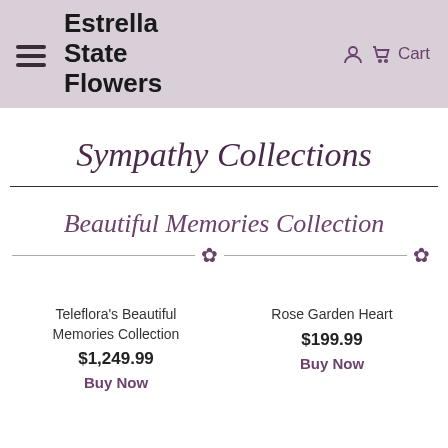Estrella State Flowers | Cart
Sympathy Collections
Beautiful Memories Collection
Teleflora's Beautiful Memories Collection
$1,249.99
Buy Now
Rose Garden Heart
$199.99
Buy Now